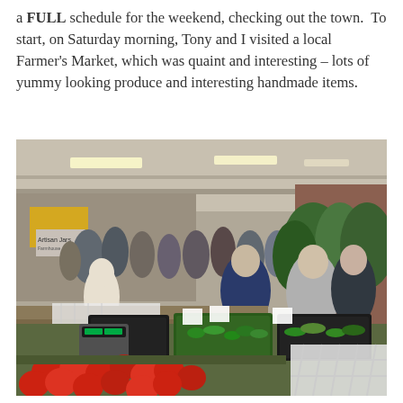a FULL schedule for the weekend, checking out the town.  To start, on Saturday morning, Tony and I visited a local Farmer's Market, which was quaint and interesting – lots of yummy looking produce and interesting handmade items.
[Figure (photo): Interior of a local Farmer's Market inside a large hall. Vendors display vegetables and plants. Shoppers browse stalls. In the foreground are crates of fresh tomatoes and green vegetables. A yellow sign and 'Artisan...' sign visible in background.]